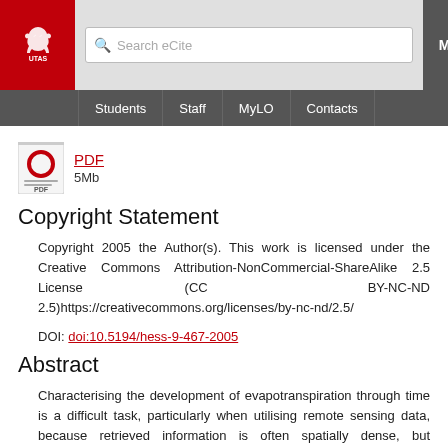[Figure (logo): University of Tasmania (UTAS) logo with lion crest on red background]
Search eCite | Menu | Students | Staff | MyLO | Contacts
[Figure (illustration): PDF file icon with red circle O symbol]
PDF
5Mb
Copyright Statement
Copyright 2005 the Author(s). This work is licensed under the Creative Commons Attribution-NonCommercial-ShareAlike 2.5 License (CC BY-NC-ND 2.5)https://creativecommons.org/licenses/by-nc-nd/2.5/
DOI: doi:10.5194/hess-9-467-2005
Abstract
Characterising the development of evapotranspiration through time is a difficult task, particularly when utilising remote sensing data, because retrieved information is often spatially dense, but temporally sparse. Techniques to expand these essentially